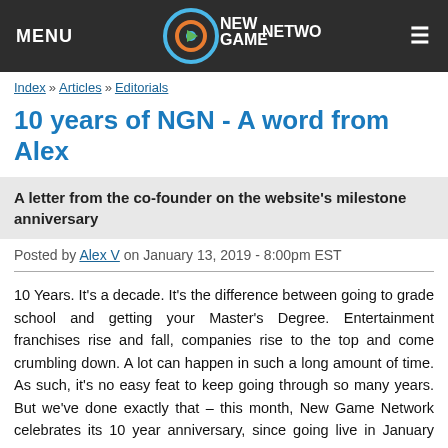MENU | New Game Network | ≡
Index » Articles » Editorials
10 years of NGN - A word from Alex
A letter from the co-founder on the website's milestone anniversary
Posted by Alex V on January 13, 2019 - 8:00pm EST
10 Years. It's a decade. It's the difference between going to grade school and getting your Master's Degree. Entertainment franchises rise and fall, companies rise to the top and come crumbling down. A lot can happen in such a long amount of time. As such, it's no easy feat to keep going through so many years. But we've done exactly that – this month, New Game Network celebrates its 10 year anniversary, since going live in January 2009.